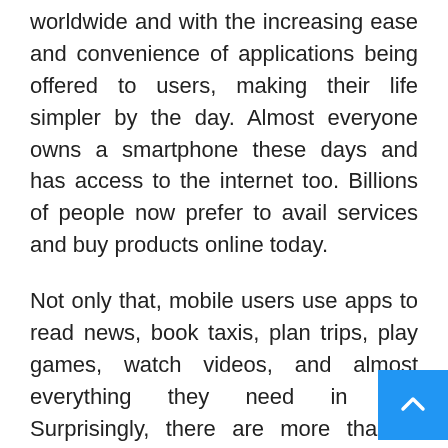worldwide and with the increasing ease and convenience of applications being offered to users, making their life simpler by the day. Almost everyone owns a smartphone these days and has access to the internet too. Billions of people now prefer to avail services and buy products online today.
Not only that, mobile users use apps to read news, book taxis, plan trips, play games, watch videos, and almost everything they need in life. Surprisingly, there are more than 5 million apps in the App Store today that serve users in different ways.
While millions of businesses are already online the App Store, there are still many busine trying to build their apps to stay ahead in this